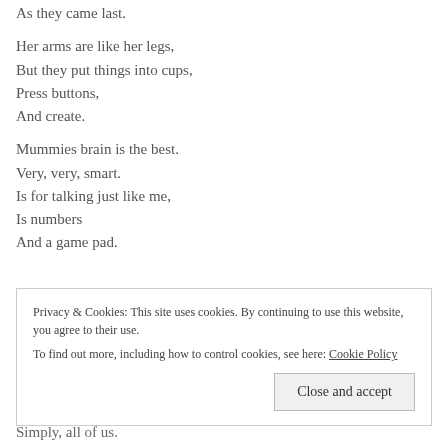As they came last.
Her arms are like her legs,
But they put things into cups,
Press buttons,
And create.
Mummies brain is the best.
Very, very, smart.
Is for talking just like me,
Is numbers
And a game pad.
Privacy & Cookies: This site uses cookies. By continuing to use this website, you agree to their use.
To find out more, including how to control cookies, see here: Cookie Policy
Simply, all of us.